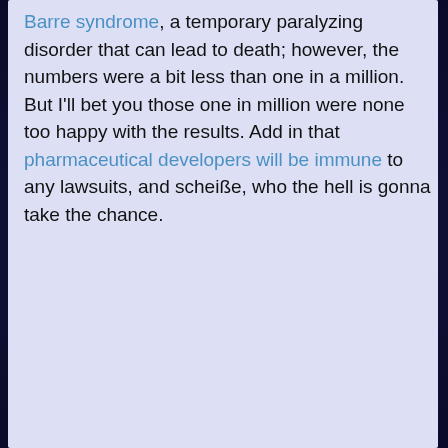Barre syndrome, a temporary paralyzing disorder that can lead to death; however, the numbers were a bit less than one in a million. But I'll bet you those one in million were none too happy with the results. Add in that pharmaceutical developers will be immune to any lawsuits, and scheiße, who the hell is gonna take the chance.